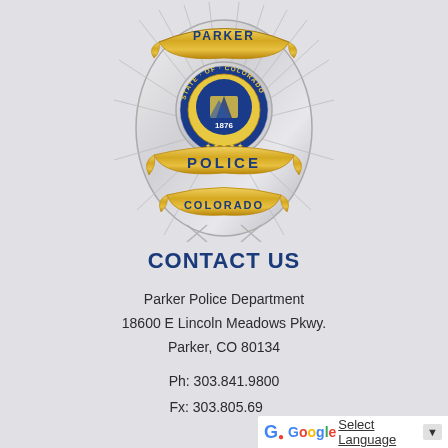[Figure (logo): Parker Police Department badge — silver oval badge with gold ribbon banners reading PARKER at top and POLICE at bottom, Colorado state seal in center with 1876, and COLORADO text on gold banner at bottom]
CONTACT US
Parker Police Department
18600 E Lincoln Meadows Pkwy.
Parker, CO 80134
Ph: 303.841.9800
Fx: 303.805.6900
[Figure (other): Google Translate widget bar with Google G logo and Select Language dropdown]